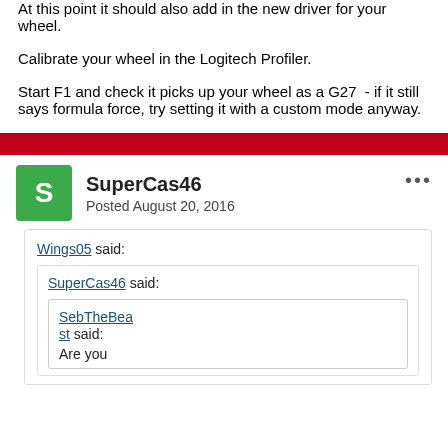At this point it should also add in the new driver for your wheel.
Calibrate your wheel in the Logitech Profiler.
Start F1 and check it picks up your wheel as a G27  - if it still says formula force, try setting it with a custom mode anyway.
SuperCas46
Posted August 20, 2016
Wings05 said:
SuperCas46 said:
SebTheBeast said: Are you